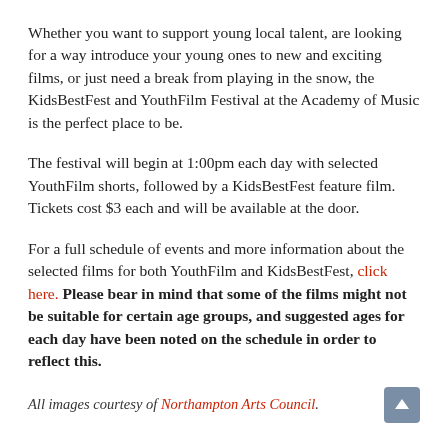Whether you want to support young local talent, are looking for a way introduce your young ones to new and exciting films, or just need a break from playing in the snow, the KidsBestFest and YouthFilm Festival at the Academy of Music is the perfect place to be.
The festival will begin at 1:00pm each day with selected YouthFilm shorts, followed by a KidsBestFest feature film. Tickets cost $3 each and will be available at the door.
For a full schedule of events and more information about the selected films for both YouthFilm and KidsBestFest, click here. Please bear in mind that some of the films might not be suitable for certain age groups, and suggested ages for each day have been noted on the schedule in order to reflect this.
All images courtesy of Northampton Arts Council.